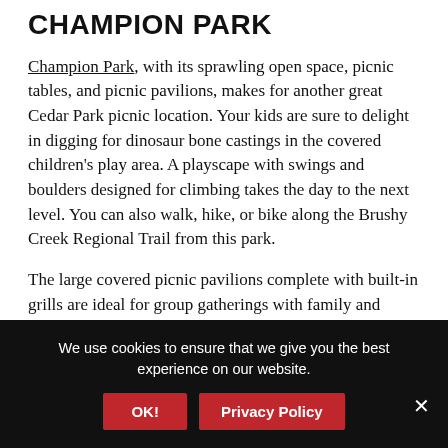CHAMPION PARK
Champion Park, with its sprawling open space, picnic tables, and picnic pavilions, makes for another great Cedar Park picnic location. Your kids are sure to delight in digging for dinosaur bone castings in the covered children's play area. A playscape with swings and boulders designed for climbing takes the day to the next level. You can also walk, hike, or bike along the Brushy Creek Regional Trail from this park.
The large covered picnic pavilions complete with built-in grills are ideal for group gatherings with family and friends. You can reserve the Pecan North and Pecan South pavilions ahead of time to ensure you have the perfect picnic place ready for you. If not previously reserved, the pavilions are available on a first-
We use cookies to ensure that we give you the best experience on our website.